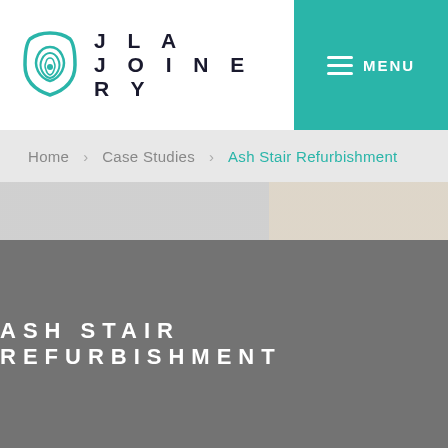[Figure (logo): JLA Joinery logo with teal fingerprint/wood-grain circular icon and bold uppercase text JLA JOINERY]
MENU
Home / Case Studies / Ash Stair Refurbishment
[Figure (photo): Faint background photo strip showing a staircase interior with light tones]
ASH STAIR REFURBISHMENT